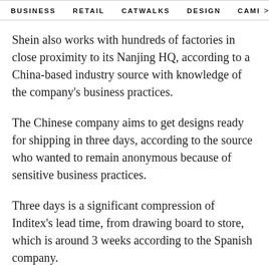BUSINESS   RETAIL   CATWALKS   DESIGN   CAMI >
Shein also works with hundreds of factories in close proximity to its Nanjing HQ, according to a China-based industry source with knowledge of the company's business practices.
The Chinese company aims to get designs ready for shipping in three days, according to the source who wanted to remain anonymous because of sensitive business practices.
Three days is a significant compression of Inditex's lead time, from drawing board to store, which is around 3 weeks according to the Spanish company.